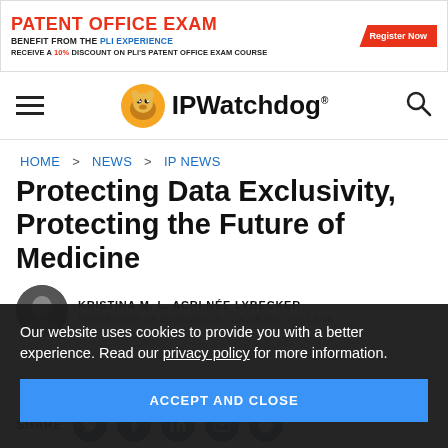[Figure (infographic): Advertisement banner: PATENT OFFICE EXAM - BENEFIT FROM THE PLI EXPERIENCE - RECEIVE A 10% DISCOUNT ON PLI'S PATENT OFFICE EXAM COURSE - Register Now button]
[Figure (logo): IPWatchdog logo with dog mascot icon and text IPWatchdog, hamburger menu icon on left, search icon on right]
HOME > NEWS > IP NEWS
Protecting Data Exclusivity, Protecting the Future of Medicine
KRISTINA M. L. ACRI NÉE LYBECKER
Our website uses cookies to provide you with a better experience. Read our privacy policy for more information.
ACCEPT AND CLOSE
SHARE